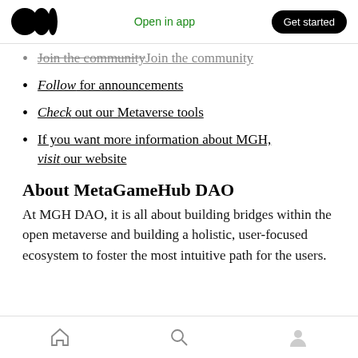Medium app header with logo, Open in app, Get started button
Join the community
Follow for announcements
Check out our Metaverse tools
If you want more information about MGH, visit our website
About MetaGameHub DAO
At MGH DAO, it is all about building bridges within the open metaverse and building a holistic, user-focused ecosystem to foster the most intuitive path for the users.
Bottom navigation bar with home, search, and profile icons